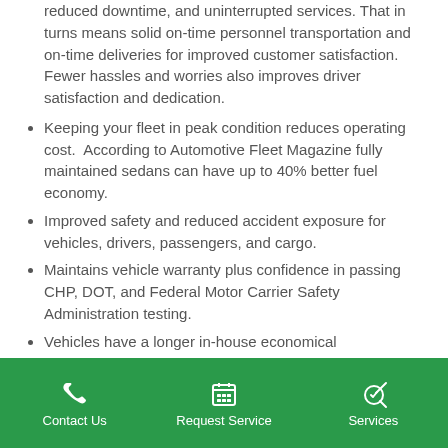reduced downtime, and uninterrupted services. That in turns means solid on-time personnel transportation and on-time deliveries for improved customer satisfaction.  Fewer hassles and worries also improves driver satisfaction and dedication.
Keeping your fleet in peak condition reduces operating cost.  According to Automotive Fleet Magazine fully maintained sedans can have up to 40% better fuel economy.
Improved safety and reduced accident exposure for vehicles, drivers, passengers, and cargo.
Maintains vehicle warranty plus confidence in passing CHP, DOT, and Federal Motor Carrier Safety Administration testing.
Vehicles have a longer in-house economical
Contact Us   Request Service   Services